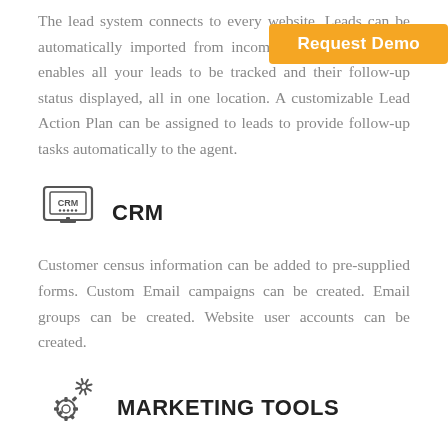The lead system connects to every website. Leads can be automatically imported from incoming lead source. This enables all your leads to be tracked and their follow-up status displayed, all in one location. A customizable Lead Action Plan can be assigned to leads to provide follow-up tasks automatically to the agent.
[Figure (illustration): Request Demo button overlay in golden/orange color]
[Figure (illustration): CRM icon — computer monitor with CRM label and dots]
CRM
Customer census information can be added to pre-supplied forms. Custom Email campaigns can be created. Email groups can be created. Website user accounts can be created.
[Figure (illustration): Marketing tools icon — gear/cog with tools]
MARKETING TOOLS
Automated Listing drip emails are included, email campaigns, flyers, social media sharing tools, SEO-ready, customizable IDX websites for all your agents, custom